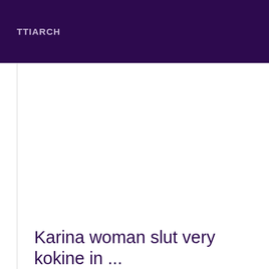TTIARCH
Karina woman slut very kokine in ...